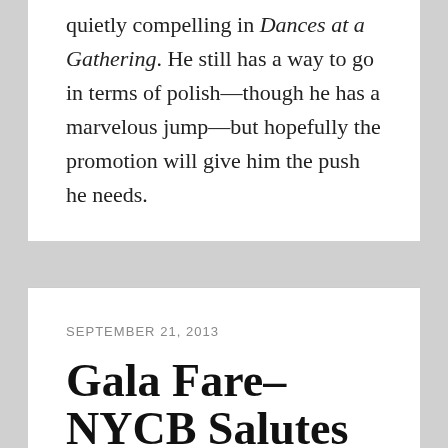quietly compelling in Dances at a Gathering. He still has a way to go in terms of polish—though he has a marvelous jump—but hopefully the promotion will give him the push he needs.
SEPTEMBER 21, 2013
Gala Fare–NYCB Salutes Fashion, and, yes Ballet
[Figure (photo): Partial photo at bottom of page, showing dark and light tones, likely ballet-related imagery]